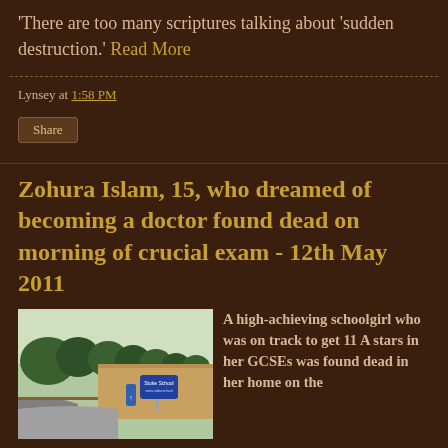'There are too many scriptures talking about 'sudden destruction.' Read More
Lynsey at 1:58 PM
Share
Zohura Islam, 15, who dreamed of becoming a doctor found dead on morning of crucial exam - 12th May 2011
[Figure (photo): Photo of a school building with a road, trees, and a blue school sign (Stoke School) in the foreground]
A high-achieving schoolgirl who was on track to get 11 A stars in her GCSEs was found dead in her home on the